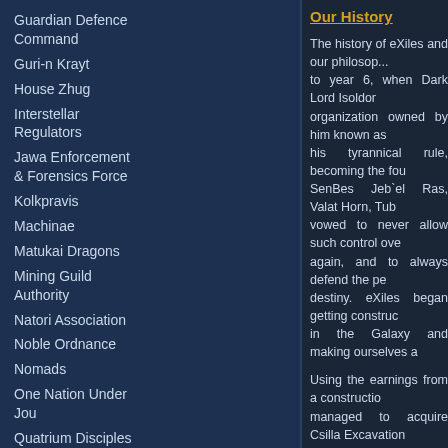Guardian Defence Command
Guri-n Krayt
House Zhug
Interstellar Regulators
Jawa Enforcement & Forensics Force
Kolkpravis
Machinae
Matukai Dragons
Mining Guild Authority
Natori Association
Noble Ordnance
Nomads
One Nation Under Jou
Quatrium Disciples Order
REBEL SCUM
Requiem
Shadolan Authority
Shownar Rangers
Our History
The history of eXiles and our philosophy goes back to year 6, when Dark Lord Isoldor... organization owned by him known as... his tyrannical rule, becoming the fou... SenBes Jeb`el Ras, Valat Horn, Tub... vowed to never allow such control ove... again, and to always defend the pe... destiny. eXiles began getting constru... in the Galaxy and making ourselves a
Using the earnings from a constructio... managed to acquire Csilla Excavation... the Elrood sector. Shortly after, opera... the Rimma Trade Route Remnants... eXiles, specially due to Jeb`el Ras exc... able to start many ventures like Galm... during this period of time that many r... our group, names like Izgit Mazarit,... Russa, Helen Hawk, Toorg Dayiir, Na... our group became a force to be recko...
On year 9 eXiles created a governme... in order to better manage and serve ... our control. During the following 2 y... and expand into new territories and r... time, Jeb`el Ras had slowed down o... had fallen unto Han Daragon. Howeve...